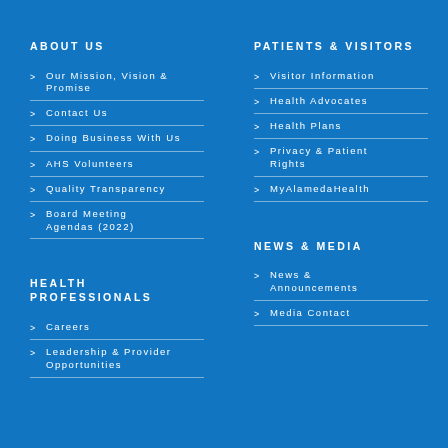ABOUT US
Our Mission, Vision & Promise
Contact Us
Doing Business With Us
AHS Volunteers
Quality Transparency
Board Meeting Agendas (2022)
PATIENTS & VISITORS
Visitor Information
Health Advocates
Health Plans
Privacy & Patient Rights
MyAlamedaHealth
HEALTH PROFESSIONALS
Careers
Leadership & Provider Opportunities
NEWS & MEDIA
News & Announcements
Media Contact